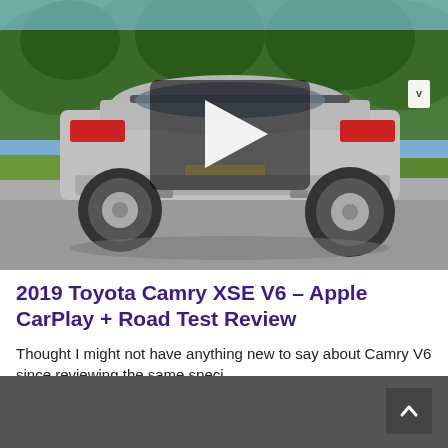[Figure (photo): Rear view of a silver 2019 Toyota Camry XSE V6 parked on a road with trees in background. A dark video play button overlay is visible in the center of the image.]
2019 Toyota Camry XSE V6 – Apple CarPlay + Road Test Review
Thought I might not have anything new to say about Camry V6 since reviewing the same speci…
Visit our YouTube channel